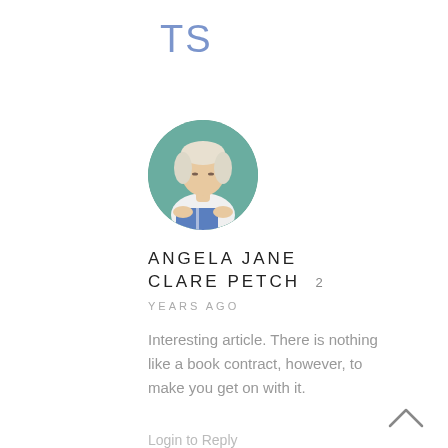TS
[Figure (photo): Circular avatar photo of Angela Jane Clare Petch — a woman with short white/blonde hair, reading a book, wearing a white sleeveless top, against a teal/green background.]
ANGELA JANE CLARE PETCH  2
YEARS AGO
Interesting article. There is nothing like a book contract, however, to make you get on with it.
Login to Reply